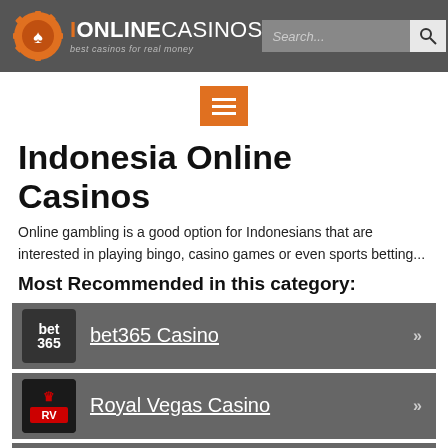iOnlineCasinos — best casinos for real money | Search
[Figure (logo): iOnlineCasinos logo with gear/chip icon and text 'IONLINECASINOS — best casinos for real money']
[Figure (other): Orange hamburger/menu button]
Indonesia Online Casinos
Online gambling is a good option for Indonesians that are interested in playing bingo, casino games or even sports betting...
Most Recommended in this category:
bet365 Casino
Royal Vegas Casino
Playamo Casino